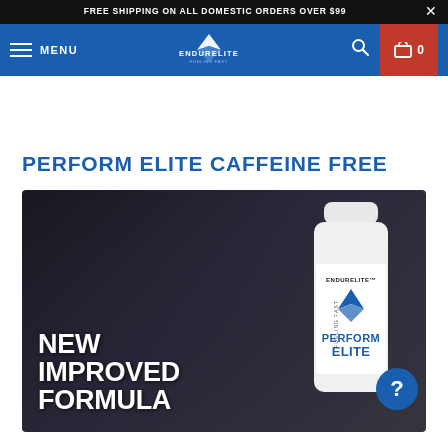FREE SHIPPING ON ALL DOMESTIC ORDERS OVER $99
[Figure (screenshot): EndurElite website navigation bar with blue background, hamburger menu, MENU text, EndurElite logo in center, search icon, and red cart icon showing 0 items]
PERFORM ELITE CAFFEINE FREE
[Figure (photo): Dark textured background product image showing a white supplement bottle labeled ENDURELITE PERFORM ELITE on the right side, with large bold white text reading NEW IMPROVED FORMULA on the left side, and a blue circular question mark badge in the lower right]